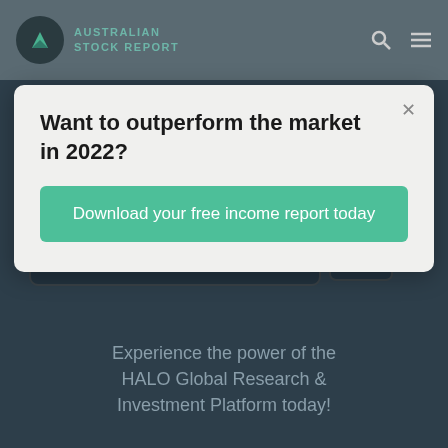Australian Stock Report
Want to outperform the market in 2022?
Download your free income report today
[Figure (screenshot): Dashboard screenshot showing financial charts and graphs on laptop and mobile device]
Experience the power of the HALO Global Research & Investment Platform today!